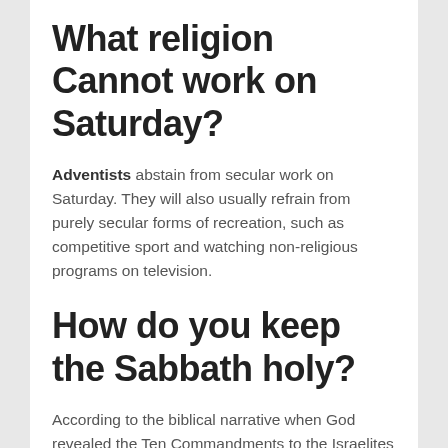What religion Cannot work on Saturday?
Adventists abstain from secular work on Saturday. They will also usually refrain from purely secular forms of recreation, such as competitive sport and watching non-religious programs on television.
How do you keep the Sabbath holy?
According to the biblical narrative when God revealed the Ten Commandments to the Israelites at biblical Mount Sinai, they were commanded to